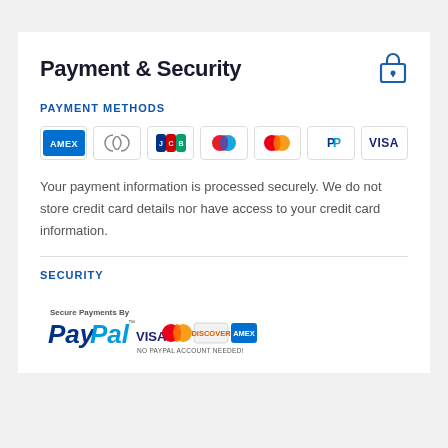Payment & Security
PAYMENT METHODS
[Figure (logo): Payment method icons: American Express, Diners Club, JCB, Maestro, Mastercard, PayPal, Visa]
Your payment information is processed securely. We do not store credit card details nor have access to your credit card information.
SECURITY
[Figure (logo): Secure Payments By PayPal badge with VISA, Mastercard, Discover, American Express logos and text NO PAYPAL ACCOUNT NEEDED!]